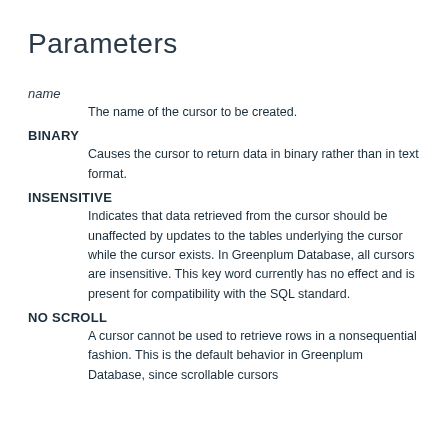Parameters
name
The name of the cursor to be created.
BINARY
Causes the cursor to return data in binary rather than in text format.
INSENSITIVE
Indicates that data retrieved from the cursor should be unaffected by updates to the tables underlying the cursor while the cursor exists. In Greenplum Database, all cursors are insensitive. This key word currently has no effect and is present for compatibility with the SQL standard.
NO SCROLL
A cursor cannot be used to retrieve rows in a nonsequential fashion. This is the default behavior in Greenplum Database, since scrollable cursors